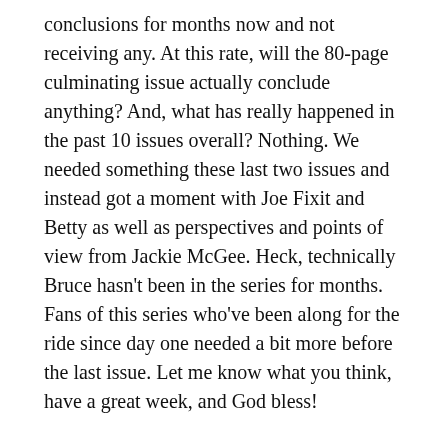conclusions for months now and not receiving any. At this rate, will the 80-page culminating issue actually conclude anything? And, what has really happened in the past 10 issues overall? Nothing. We needed something these last two issues and instead got a moment with Joe Fixit and Betty as well as perspectives and points of view from Jackie McGee. Heck, technically Bruce hasn't been in the series for months. Fans of this series who've been along for the ride since day one needed a bit more before the last issue. Let me know what you think, have a great week, and God bless!
7/10
Dig into our other Comic Book Dispatch Reviews HERE. Or, if you're curious as to what's arriving in comic shops each week, check out